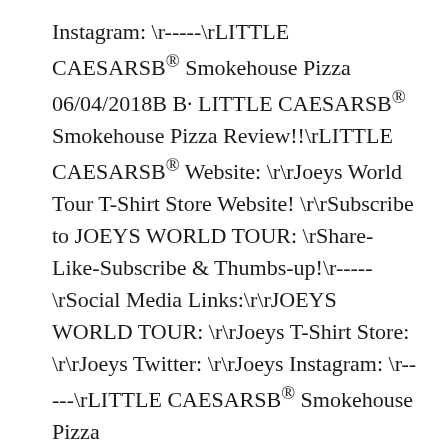Instagram: \r-----\rLITTLE CAESARSB® Smokehouse Pizza 06/04/2018B B· LITTLE CAESARSB® Smokehouse Pizza Review!!\rLITTLE CAESARSB® Website: \r\rJoeys World Tour T-Shirt Store Website! \r\rSubscribe to JOEYS WORLD TOUR: \rShare-Like-Subscribe & Thumbs-up!\r-----\rSocial Media Links:\r\rJOEYS WORLD TOUR: \r\rJoeys T-Shirt Store: \r\rJoeys Twitter: \r\rJoeys Instagram: \r-----\rLITTLE CAESARSB® Smokehouse Pizza
25/03/2017B B· Little Caesars: Promotional - Smokehouse Pizza - See 2 traveler reviews, candid photos, and great deals for Spokane, WA, at TripAdvisor. The Smokehouse pizza was my favorite promotional item at Little Caesars, and I'm kinda bummed that it only lasted a couple